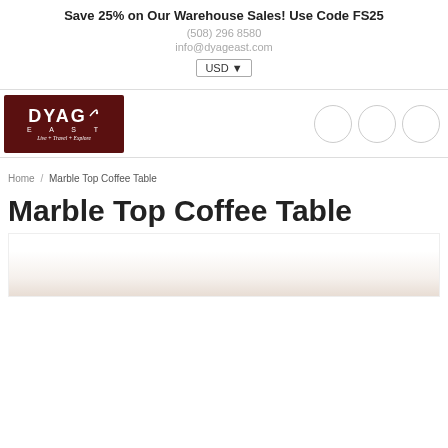Save 25% on Our Warehouse Sales! Use Code FS25
(508) 296 8580
info@dyageast.com
USD ▾
[Figure (logo): DYAG EAST logo — dark maroon background with white text 'DYAG' in bold, 'EAST' in spaced letters below, tagline 'Live + Travel + Explore' in italic script. Three circular nav icons to the right.]
Home / Marble Top Coffee Table
Marble Top Coffee Table